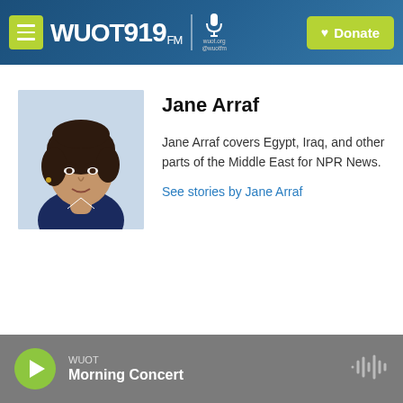WUOT 91.9 FM | wuot.org @wuotfm | Donate
[Figure (photo): Headshot portrait of Jane Arraf, a woman with medium-length dark brown hair, wearing a dark navy top, against a light blue-grey background]
Jane Arraf
Jane Arraf covers Egypt, Iraq, and other parts of the Middle East for NPR News.
See stories by Jane Arraf
WUOT Morning Concert